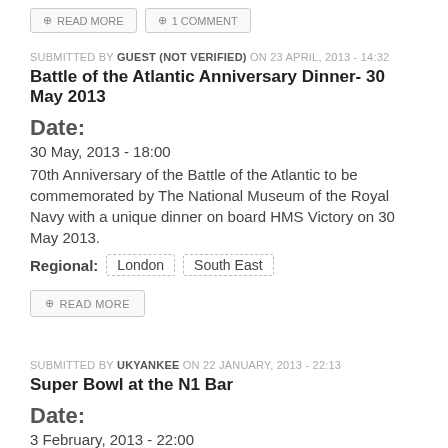READ MORE | 1 COMMENT
SUBMITTED BY GUEST (NOT VERIFIED) ON 23 APRIL, 2013 - 14:32
Battle of the Atlantic Anniversary Dinner- 30 May 2013
Date:
30 May, 2013 - 18:00
70th Anniversary of the Battle of the Atlantic to be commemorated by The National Museum of the Royal Navy with a unique dinner on board HMS Victory on 30 May 2013.
Regional: London  South East
READ MORE
SUBMITTED BY UKYANKEE ON 22 JANUARY, 2013 - 22:13
Super Bowl at the N1 Bar
Date:
3 February, 2013 - 22:00
Watch Super Bowl 2013 at Number 1 Bar FREE Entry Open till late Large Screen http://n1bar.com/event/super-bowl-xlvii